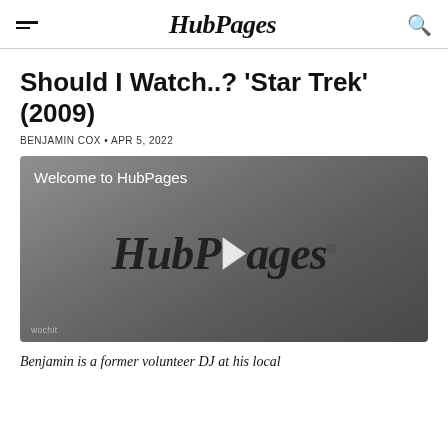HubPages
Should I Watch..? 'Star Trek' (2009)
BENJAMIN COX • APR 5, 2022
[Figure (screenshot): Video player thumbnail showing HubPages logo with play button and 'Welcome to HubPages' text overlay. Wochit watermark in lower left.]
Benjamin is a former volunteer DJ at his local